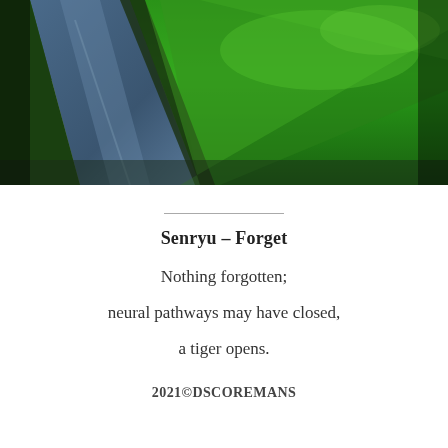[Figure (photo): Aerial or angled view of a narrow canal or drainage ditch running diagonally through lush green grass and vegetation, photographed in vibrant natural daylight.]
Senryu – Forget
Nothing forgotten;
neural pathways may have closed,
a tiger opens.
2021©DSCOREMANS